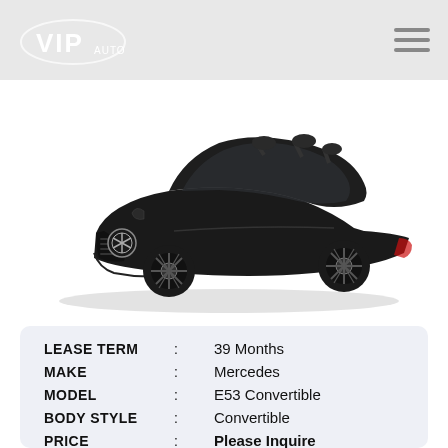[Figure (logo): VIP Auto logo — white shield/wing shape with VIP text, on light gray header bar]
[Figure (photo): Black Mercedes-Benz E53 Convertible (AMG), top-down open, three-quarter front view, on white background]
| Field | : | Value |
| --- | --- | --- |
| LEASE TERM | : | 39 Months |
| MAKE | : | Mercedes |
| MODEL | : | E53 Convertible |
| BODY STYLE | : | Convertible |
| PRICE | : | Please Inquire |